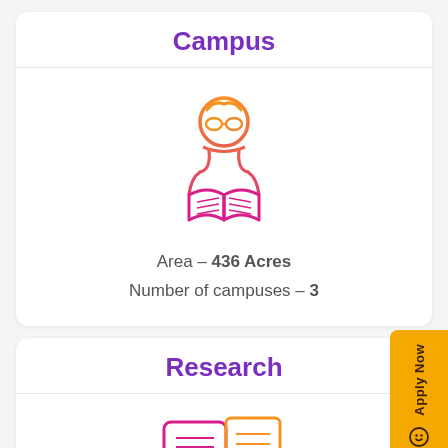Campus
[Figure (illustration): Icon of a student reading an open book, drawn with orange-to-pink gradient outline style]
Area – 436 Acres
Number of campuses – 3
Research
[Figure (illustration): Icon of a research/presentation scene with a person, speech bubble with lines, and a document/certificate, drawn in pink-to-orange gradient outline style]